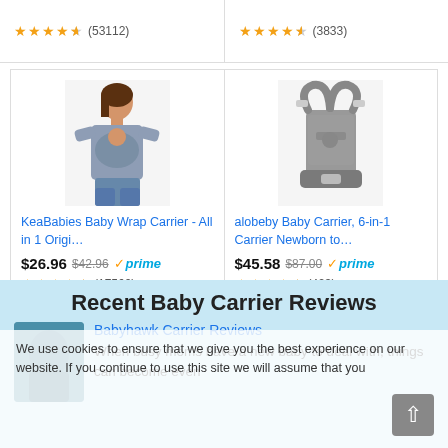[Figure (screenshot): Two Amazon product rating cells at top: left shows 4.5 stars (53112 reviews), right shows 4.5 stars (3833 reviews)]
[Figure (photo): Woman wearing a gray KeaBabies Baby Wrap Carrier]
[Figure (photo): Gray alobeby Baby Carrier 6-in-1 product photo]
KeaBabies Baby Wrap Carrier - All in 1 Origi…
$26.96 $42.96 ✓prime (17560)
alobeby Baby Carrier, 6-in-1 Carrier Newborn to…
$45.58 $87.00 ✓prime (423)
Ads by Amazon
Recent Baby Carrier Reviews
We use cookies to ensure that we give you the best experience on our website. If you continue to use this site we will assume that you
Babyhawk Carrier Reviews
When busy moms have a new baby to deal with, things can become even